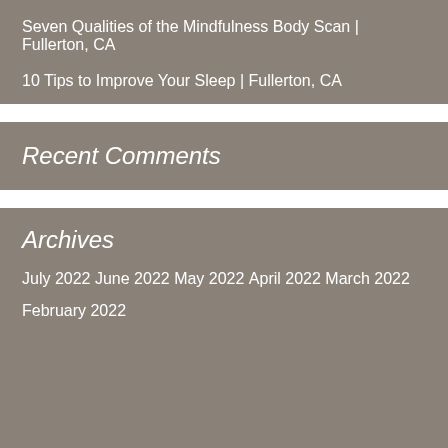Seven Qualities of the Mindfulness Body Scan | Fullerton, CA
10 Tips to Improve Your Sleep | Fullerton, CA
Recent Comments
Archives
July 2022
June 2022
May 2022
April 2022
March 2022
February 2022